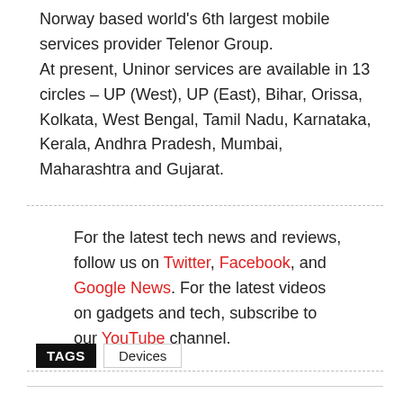Norway based world's 6th largest mobile services provider Telenor Group.
At present, Uninor services are available in 13 circles – UP (West), UP (East), Bihar, Orissa, Kolkata, West Bengal, Tamil Nadu, Karnataka, Kerala, Andhra Pradesh, Mumbai, Maharashtra and Gujarat.
For the latest tech news and reviews, follow us on Twitter, Facebook, and Google News. For the latest videos on gadgets and tech, subscribe to our YouTube channel.
TAGS  Devices